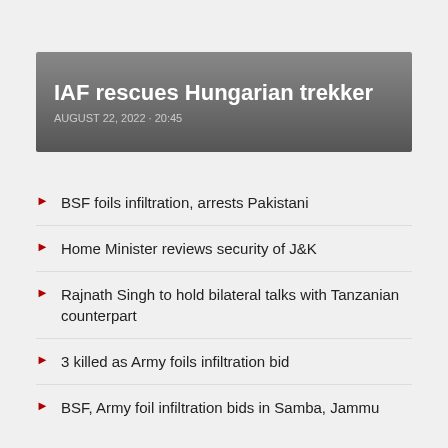IAF rescues Hungarian trekker
AUGUST 22, 2022 · 20:45
BSF foils infiltration, arrests Pakistani
Home Minister reviews security of J&K
Rajnath Singh to hold bilateral talks with Tanzanian counterpart
3 killed as Army foils infiltration bid
BSF, Army foil infiltration bids in Samba, Jammu